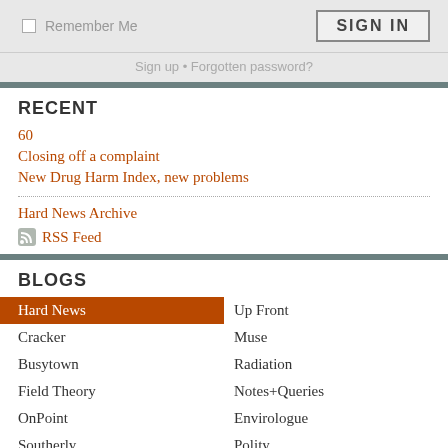Remember Me  SIGN IN
Sign up • Forgotten password?
RECENT
60
Closing off a complaint
New Drug Harm Index, new problems
Hard News Archive
RSS Feed
BLOGS
Hard News
Up Front
Cracker
Muse
Busytown
Radiation
Field Theory
Notes+Queries
OnPoint
Envirologue
Southerly
Polity
Legal Beagle
Speaker
Capture